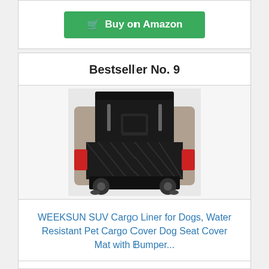[Figure (screenshot): Buy on Amazon green button with shopping cart icon]
Bestseller No. 9
[Figure (photo): SUV with open trunk showing black cargo liner/mat installed, viewed from rear]
WEEKSUN SUV Cargo Liner for Dogs, Water Resistant Pet Cargo Cover Dog Seat Cover Mat with Bumper...
Price: $37.99 Prime